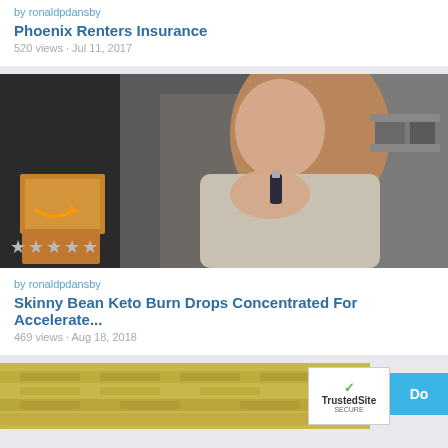by ronaldpdansby
Phoenix Renters Insurance
520 views · Jul 11, 2017
[Figure (photo): Young woman holding a small bottle, Amazon boxes visible in background, star rating overlay at bottom left]
by ronaldpdansby
Skinny Bean Keto Burn Drops Concentrated For Accelerate...
469 views · Aug 18, 2018
[Figure (photo): Stacks of US dollar bills, with TrustedSite badge and blue 'Do' button overlay]